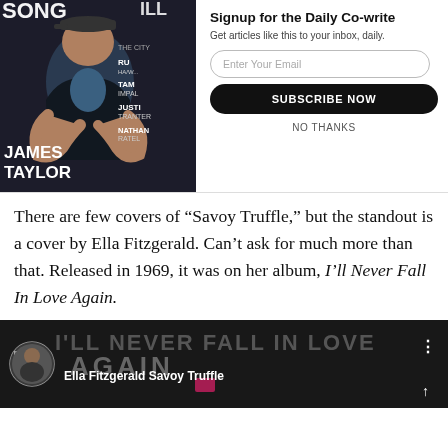[Figure (illustration): Magazine cover showing James Taylor seated, wearing dark jacket and blue shirt, with partial magazine title 'SONG...' visible at top. Text overlays: 'JAMES TAYLOR' in bold white at bottom left, 'THE CITY', 'RU...', 'HA/W...', 'TAM', 'IMPAL', 'JUSTI', 'TRANTER', 'NATHAN', 'RATEL' on right side of cover.]
Signup for the Daily Co-write
Get articles like this to your inbox, daily.
Enter Your Email
SUBSCRIBE NOW
NO THANKS
There are few covers of “Savoy Truffle,” but the standout is a cover by Ella Fitzgerald. Can’t ask for much more than that. Released in 1969, it was on her album, I’ll Never Fall In Love Again.
[Figure (screenshot): YouTube video thumbnail showing Ella Fitzgerald 'I'll Never Fall In Love Again' album cover in dark tones with pink/red elements. Circle thumbnail on left shows Beatles Fever album art. Label reads 'Ella Fitzgerald Savoy Truffle'.]